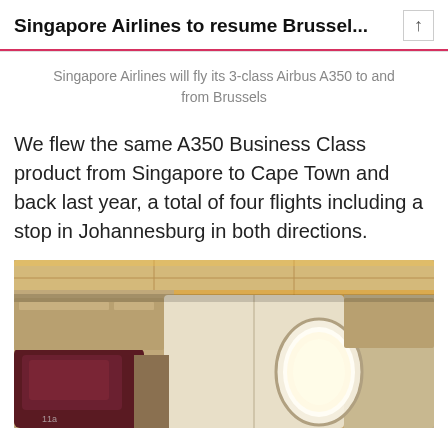Singapore Airlines to resume Brussel...
Singapore Airlines will fly its 3-class Airbus A350 to and from Brussels
We flew the same A350 Business Class product from Singapore to Cape Town and back last year, a total of four flights including a stop in Johannesburg in both directions.
[Figure (photo): Interior photo of Singapore Airlines Airbus A350 business class cabin showing dark red/maroon seat headrest on left, cream-colored cabin divider with oval window illuminated in the center, overhead panels with lighting visible at top.]